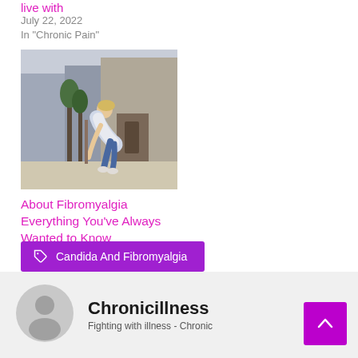live with
July 22, 2022
In "Chronic Pain"
[Figure (photo): Woman bending over in pain outdoors, city background with trees and building]
About Fibromyalgia Everything You've Always Wanted to Know
July 12, 2022
In "Fibromyalgia"
Candida And Fibromyalgia
Chronicillness
Fighting with illness - Chronic